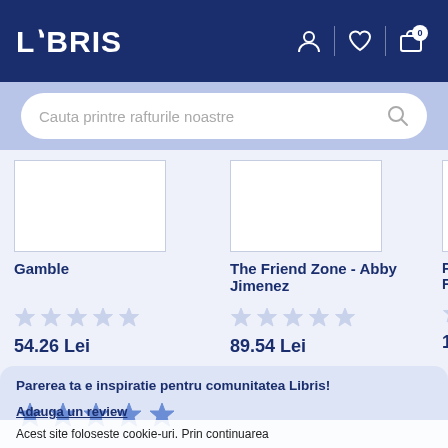LIBRIS
Cauta printre rafturile noastre
Gamble
54.26 Lei
The Friend Zone - Abby Jimenez
89.54 Lei
P... Fr...
1...
Parerea ta e inspiratie pentru comunitatea Libris!
Adauga un review
Acest site foloseste cookie-uri. Prin continuarea